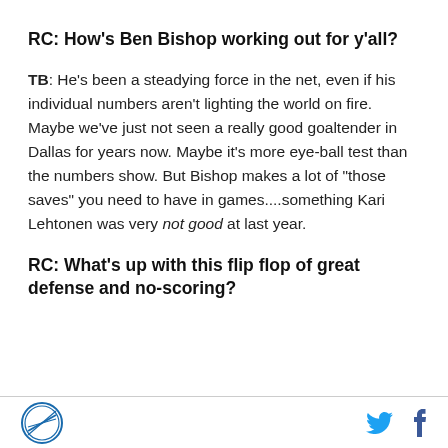RC: How's Ben Bishop working out for y'all?
TB: He's been a steadying force in the net, even if his individual numbers aren't lighting the world on fire. Maybe we've just not seen a really good goaltender in Dallas for years now. Maybe it's more eye-ball test than the numbers show. But Bishop makes a lot of "those saves" you need to have in games....something Kari Lehtonen was very not good at last year.
RC: What's up with this flip flop of great defense and no-scoring?
Logo | Twitter | Facebook